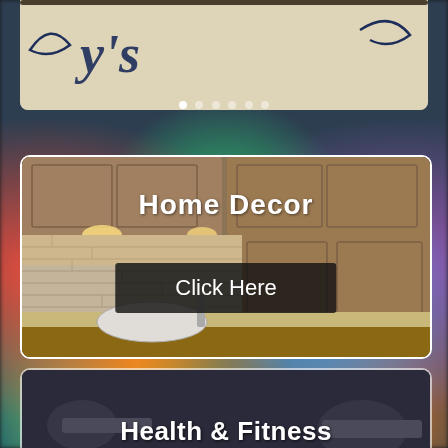[Figure (screenshot): Partial logo/header area at top of webpage, showing curved decorative sign on light background]
[Figure (screenshot): Home Decor promotional card showing a kitchen with stone backsplash and wooden cabinets, with 'Home Decor' title text and a 'Click Here' button overlaid]
Home Decor
Click Here
[Figure (screenshot): Health & Fitness promotional card showing dark fitness/gym background with 'Health & Fitness' title text overlaid]
Health & Fitness